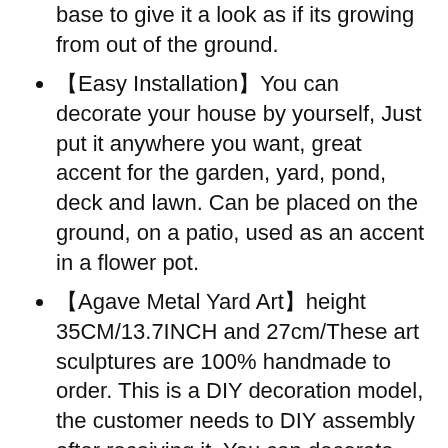base to give it a look as if its growing from out of the ground.
【Easy Installation】You can decorate your house by yourself, Just put it anywhere you want, great accent for the garden, yard, pond, deck and lawn. Can be placed on the ground, on a patio, used as an accent in a flower pot.
【Agave Metal Yard Art】height 35CM/13.7INCH and 27cm/These art sculptures are 100% handmade to order. This is a DIY decoration model, the customer needs to DIY assembly after receiving it. You can decorate your house by yourself. They are waterproof, rust-proof. Come with two bunches for assembly i